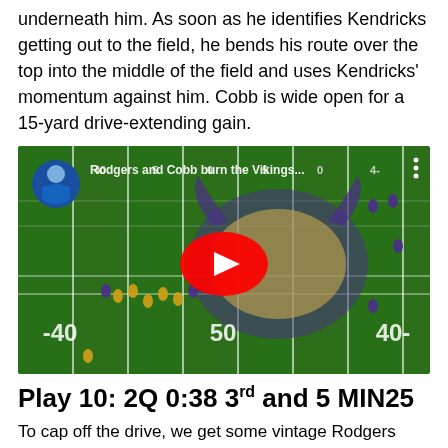underneath him. As soon as he identifies Kendricks getting out to the field, he bends his route over the top into the middle of the field and uses Kendricks' momentum against him. Cobb is wide open for a 15-yard drive-extending gain.
[Figure (screenshot): YouTube video thumbnail showing an aerial view of a football field (Minnesota Vikings stadium) with players on the field. The video title reads 'Rodgers and Cobb burn the Vikings...' A large red YouTube play button is centered on the image. The field shows yard markers -40, 50, 40-.]
Play 10: 2Q 0:38 3rd and 5 MIN25
To cap off the drive, we get some vintage Rodgers